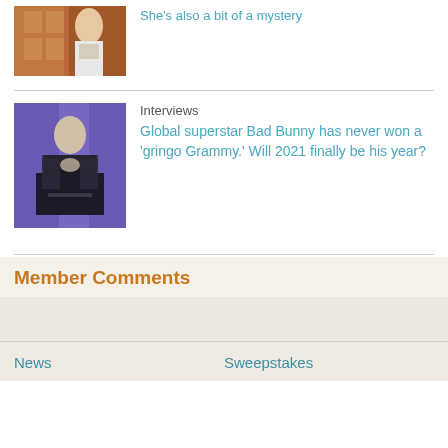[Figure (photo): Woman in white dress on stage with wooden panel background, cropped at top]
She's also a bit of a mystery
[Figure (photo): Man performing on stage with purple lighting, wearing black jacket]
Interviews
Global superstar Bad Bunny has never won a 'gringo Grammy.' Will 2021 finally be his year?
Member Comments
News
Sweepstakes